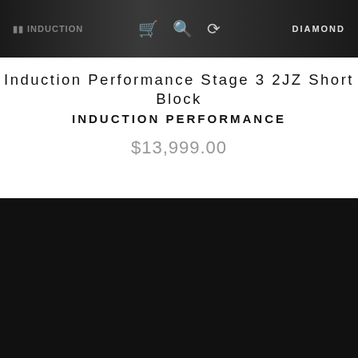[Figure (screenshot): Dark website header banner with Induction Performance logo on left, cart/search/refresh icons in center, Diamond logo on right]
Induction Performance Stage 3 2JZ Short Block
INDUCTION PERFORMANCE
$13,999.00
LOCATION / CONTACT
Induction Performance
9511 North Trask Street, Suite C
Tampa, FL 33624